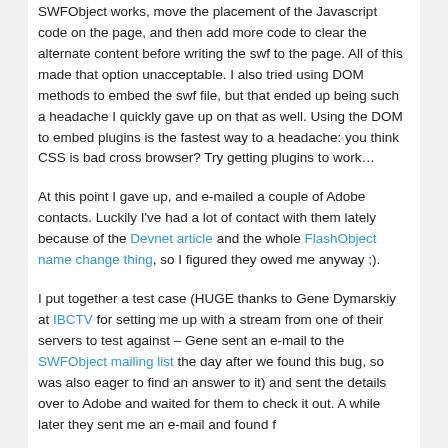SWFObject works, move the placement of the Javascript code on the page, and then add more code to clear the alternate content before writing the swf to the page. All of this made that option unacceptable. I also tried using DOM methods to embed the swf file, but that ended up being such a headache I quickly gave up on that as well. Using the DOM to embed plugins is the fastest way to a headache: you think CSS is bad cross browser? Try getting plugins to work…
At this point I gave up, and e-mailed a couple of Adobe contacts. Luckily I've had a lot of contact with them lately because of the Devnet article and the whole FlashObject name change thing, so I figured they owed me anyway ;).
I put together a test case (HUGE thanks to Gene Dymarskiy at IBCTV for setting me up with a stream from one of their servers to test against – Gene sent an e-mail to the SWFObject mailing list the day after we found this bug, so was also eager to find an answer to it) and sent the details over to Adobe and waited for them to check it out. A while later they sent me an e-mail and found f